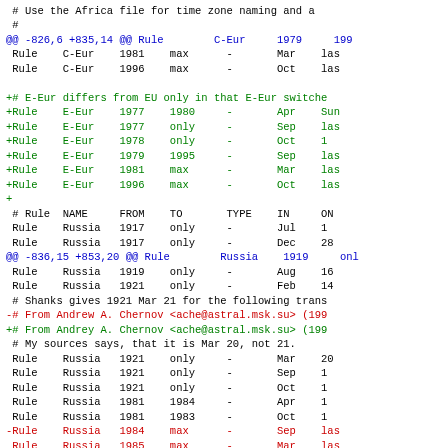Code diff showing timezone rule changes for C-Eur, E-Eur, and Russia rules in a timezone database patch file.